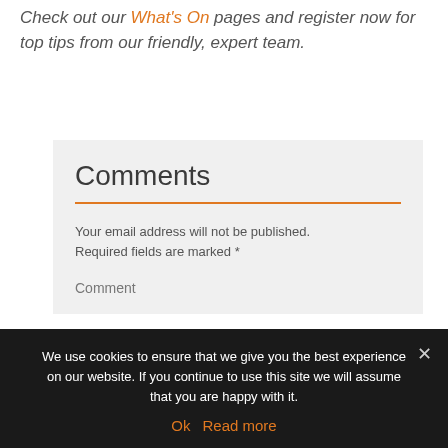Check out our What's On pages and register now for top tips from our friendly, expert team.
Comments
Your email address will not be published. Required fields are marked *
Comment
We use cookies to ensure that we give you the best experience on our website. If you continue to use this site we will assume that you are happy with it.
Ok  Read more